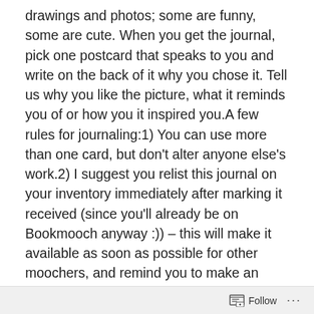drawings and photos; some are funny, some are cute. When you get the journal, pick one postcard that speaks to you and write on the back of it why you chose it. Tell us why you like the picture, what it reminds you of or how you it inspired you.A few rules for journaling:1) You can use more than one card, but don't alter anyone else's work.2) I suggest you relist this journal on your inventory immediately after marking it received (since you'll already be on Bookmooch anyway :)) – this will make it available as soon as possible for other moochers, and remind you to make an entry. Don't worry about time pressure – you can always tell a moocher that it will take you a little longer to send out their book.3) When the book is full, please contact me (Hannah; BMID: hanhel), and I will mooch it back from you. If you are having trouble getting the book
Follow ···